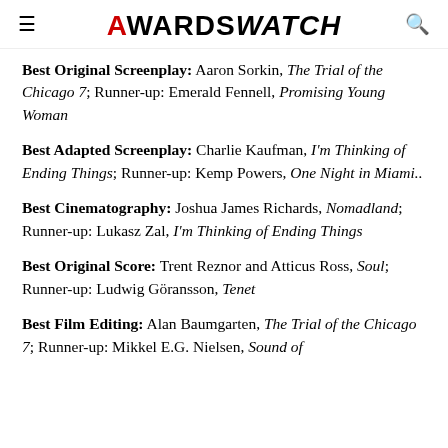AwardsWatch
Best Original Screenplay: Aaron Sorkin, The Trial of the Chicago 7; Runner-up: Emerald Fennell, Promising Young Woman
Best Adapted Screenplay: Charlie Kaufman, I'm Thinking of Ending Things; Runner-up: Kemp Powers, One Night in Miami..
Best Cinematography: Joshua James Richards, Nomadland; Runner-up: Lukasz Zal, I'm Thinking of Ending Things
Best Original Score: Trent Reznor and Atticus Ross, Soul; Runner-up: Ludwig Göransson, Tenet
Best Film Editing: Alan Baumgarten, The Trial of the Chicago 7; Runner-up: Mikkel E.G. Nielsen, Sound of...